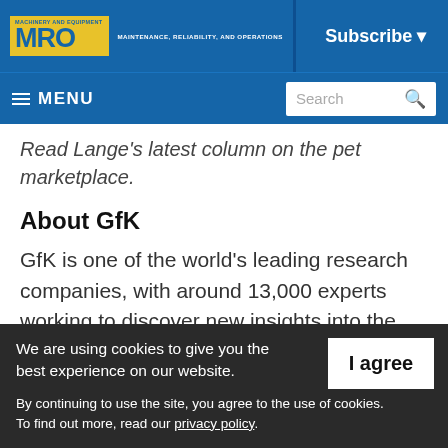MRO — MAINTENANCE, RELIABILITY, AND OPERATIONS | Subscribe
≡ MENU | Search
Read Lange's latest column on the pet marketplace.
About GfK
GfK is one of the world's leading research companies, with around 13,000 experts working to discover new insights into the way
We are using cookies to give you the best experience on our website. By continuing to use the site, you agree to the use of cookies. To find out more, read our privacy policy.